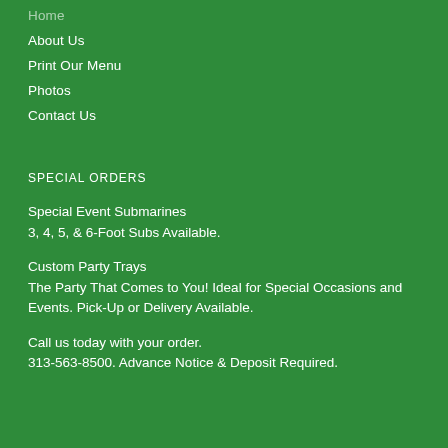Home
About Us
Print Our Menu
Photos
Contact Us
SPECIAL ORDERS
Special Event Submarines
3, 4, 5, & 6-Foot Subs Available.
Custom Party Trays
The Party That Comes to You! Ideal for Special Occasions and Events. Pick-Up or Delivery Available.
Call us today with your order.
313-563-8500. Advance Notice & Deposit Required.